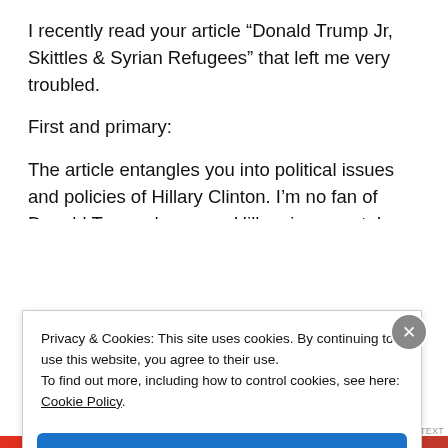I recently read your article “Donald Trump Jr, Skittles & Syrian Refugees” that left me very troubled.
First and primary:
The article entangles you into political issues and policies of Hillary Clinton. I’m no fan of Donald Trump, however, Hillary is corrupt. I recently retired from the DoD, if I had done what Hillary had done with private servers I would be prison now. It is now apparent that
Privacy & Cookies: This site uses cookies. By continuing to use this website, you agree to their use.
To find out more, including how to control cookies, see here: Cookie Policy
Close and accept